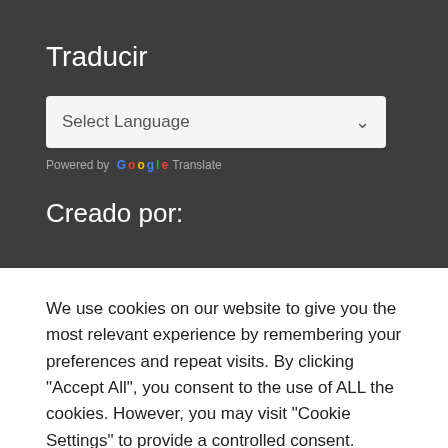Traducir
[Figure (screenshot): A language selector dropdown showing 'Select Language' with a dropdown arrow, on a light background]
Powered by Google Translate
Creado por:
We use cookies on our website to give you the most relevant experience by remembering your preferences and repeat visits. By clicking "Accept All", you consent to the use of ALL the cookies. However, you may visit "Cookie Settings" to provide a controlled consent.
Cookie Settings | Accept All